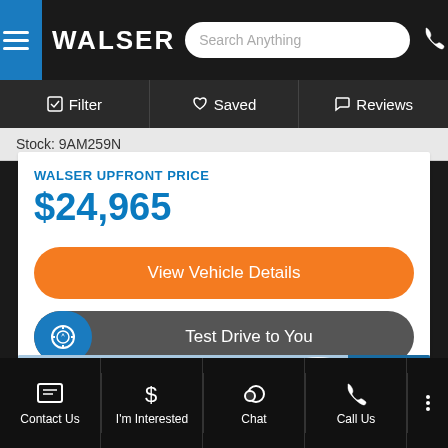WALSER | Search Anything
Filter | Saved | Reviews
Stock: 9AM259N
WALSER UPFRONT PRICE $24,965
View Vehicle Details
Test Drive to You
[Figure (photo): Walser dealership building exterior with blue sky]
Contact Us | I'm Interested | Chat | Call Us